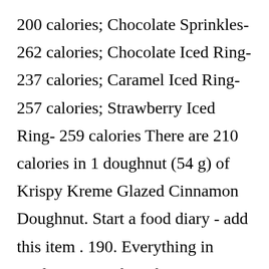200 calories; Chocolate Sprinkles- 262 calories; Chocolate Iced Ring- 237 calories; Caramel Iced Ring- 257 calories; Strawberry Iced Ring- 259 calories There are 210 calories in 1 doughnut (54 g) of Krispy Kreme Glazed Cinnamon Doughnut. Start a food diary - add this item . 190. Everything in moderation, right? There are 210 calories in 1 doughnut (54 g) of Krispy Kreme Glazed Cinnamon Doughnut. Spend majority of leisure time doing activities such as watching TV, playing